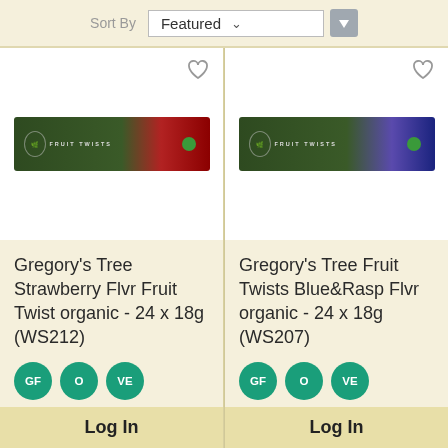Sort By  Featured
[Figure (photo): Gregory's Tree Strawberry Fruit Twist bar in a dark green and red wrapper]
Gregory's Tree Strawberry Flvr Fruit Twist organic - 24 x 18g (WS212)
GF  O  VE
Log In
[Figure (photo): Gregory's Tree Fruit Twists Blue&Rasp flavour bar in a dark green and blue wrapper]
Gregory's Tree Fruit Twists Blue&Rasp Flvr organic - 24 x 18g (WS207)
GF  O  VE
Log In